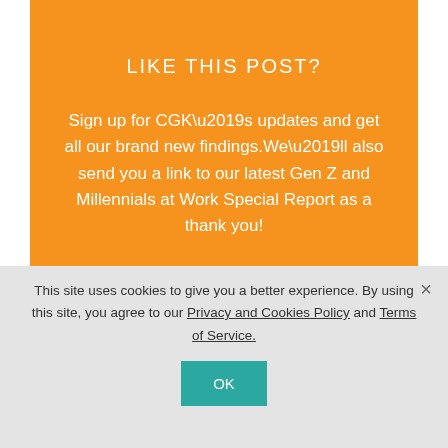LIKE THIS POST?
Sign up for CGK’s updates and get all our brand new findings. We’ll also send you a link to our latest Gen Z and Millennials at Work Special Report as a thank you!
First name
This site uses cookies to give you a better experience. By using this site, you agree to our Privacy and Cookies Policy and Terms of Service.
OK